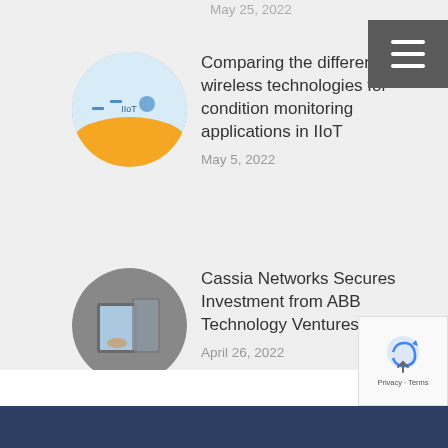May 25, 2022
[Figure (illustration): Circular thumbnail for wireless technologies article with cartoon figure and wireless icons on blue/orange background]
Comparing the different wireless technologies for condition monitoring applications in IIoT
May 5, 2022
[Figure (photo): Circular thumbnail showing a person using a tablet in an industrial setting]
Cassia Networks Secures Investment from ABB Technology Ventures
April 26, 2022
[Figure (illustration): Circular thumbnail showing Cassia gateway with HTTPS security shield icon on blue/orange background]
Did You Know the Cassia Gateway and Access Controller (AC) features HTTPS for Secured Web Access?
April 24, 2022